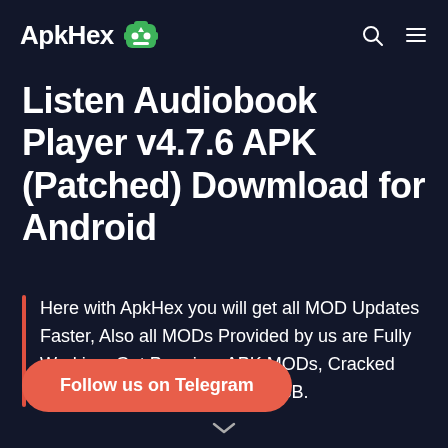ApkHex [robot icon] [search icon] [menu icon]
Listen Audiobook Player v4.7.6 APK (Patched) Dowmload for Android
Here with ApkHex you will get all MOD Updates Faster, Also all MODs Provided by us are Fully Working. Get Premium APK MODs, Cracked APPs, MOD Games, APK + OBB.
Follow us on Telegram